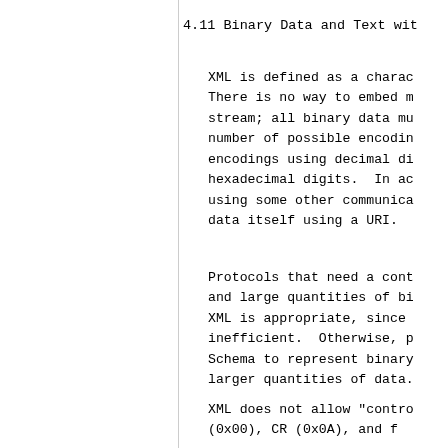4.11 Binary Data and Text wit
XML is defined as a chara
There is no way to embed 
stream; all binary data mu
number of possible encodin
encodings using decimal di
hexadecimal digits.  In ad
using some other communica
data itself using a URI.
Protocols that need a cont
and large quantities of bi
XML is appropriate, since 
inefficient.  Otherwise, p
Schema to represent binary
larger quantities of data.
XML does not allow "contro
(0x00), CR (0x0A), and f